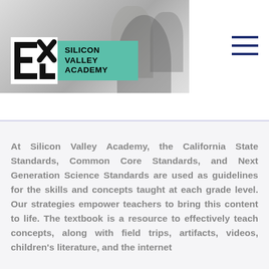[Figure (logo): Silicon Valley Academy logo with geometric icon and teal background text box]
[Figure (photo): Background photo of students in a classroom setting, partially obscured by logo]
[Figure (other): Hamburger menu icon with three horizontal dark blue lines]
At Silicon Valley Academy, the California State Standards, Common Core Standards, and Next Generation Science Standards are used as guidelines for the skills and concepts taught at each grade level. Our strategies empower teachers to bring this content to life. The textbook is a resource to effectively teach concepts, along with field trips, artifacts, videos, children's literature, and the internet